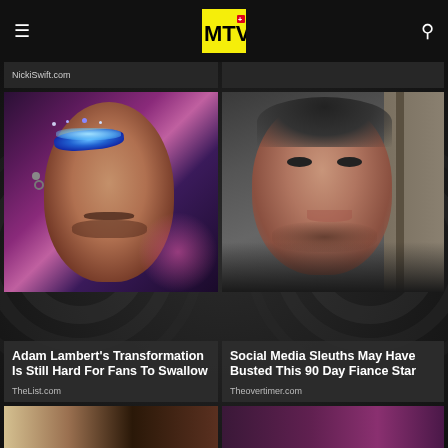MTV (logo)
NickiSwift.com
[Figure (photo): Close-up of Adam Lambert wearing dramatic blue glitter eye makeup and eyeshadow]
Adam Lambert's Transformation Is Still Hard For Fans To Swallow
TheList.com
[Figure (photo): Young man with dark hair and beard smiling, taken indoors]
Social Media Sleuths May Have Busted This 90 Day Fiance Star
Theovertimer.com
[Figure (photo): Partial view of blonde person, bottom of page]
[Figure (photo): Partial view of person at event, bottom of page]